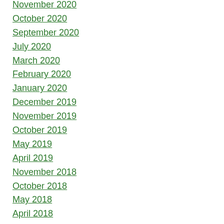November 2020
October 2020
September 2020
July 2020
March 2020
February 2020
January 2020
December 2019
November 2019
October 2019
May 2019
April 2019
November 2018
October 2018
May 2018
April 2018
March 2018
December 2017
November 2017